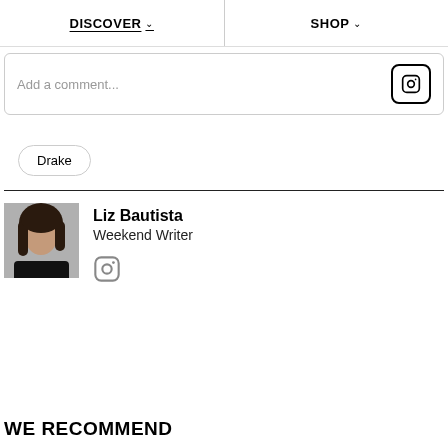DISCOVER   SHOP
Add a comment...
Drake
Liz Bautista
Weekend Writer
WE RECOMMEND